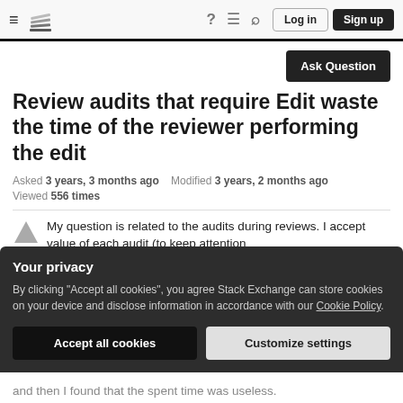Stack Exchange navigation header with hamburger menu, logo, help, chat, search icons, Log in and Sign up buttons
Review audits that require Edit waste the time of the reviewer performing the edit
Asked 3 years, 3 months ago  Modified 3 years, 2 months ago  Viewed 556 times
My question is related to the audits during reviews. I accept value of each audit (to keep attention...
Your privacy
By clicking "Accept all cookies", you agree Stack Exchange can store cookies on your device and disclose information in accordance with our Cookie Policy.
and then I found that the spent time was useless.